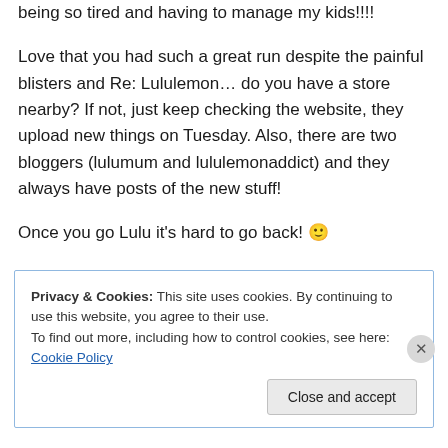being so tired and having to manage my kids!!!!
Love that you had such a great run despite the painful blisters and Re: Lululemon… do you have a store nearby? If not, just keep checking the website, they upload new things on Tuesday. Also, there are two bloggers (lulumum and lululemonaddict) and they always have posts of the new stuff!
Once you go Lulu it's hard to go back! 🙂
Privacy & Cookies: This site uses cookies. By continuing to use this website, you agree to their use. To find out more, including how to control cookies, see here: Cookie Policy